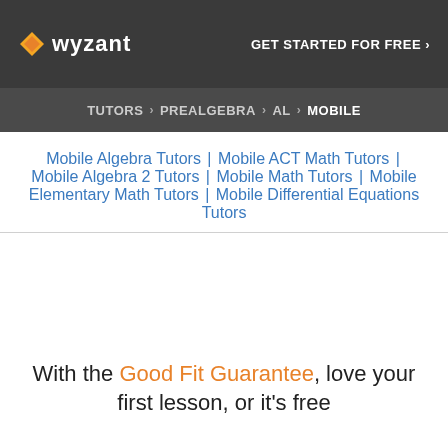wyzant — GET STARTED FOR FREE ›
TUTORS › PREALGEBRA › AL › MOBILE
Mobile Algebra Tutors | Mobile ACT Math Tutors | Mobile Algebra 2 Tutors | Mobile Math Tutors | Mobile Elementary Math Tutors | Mobile Differential Equations Tutors
With the Good Fit Guarantee, love your first lesson, or it's free